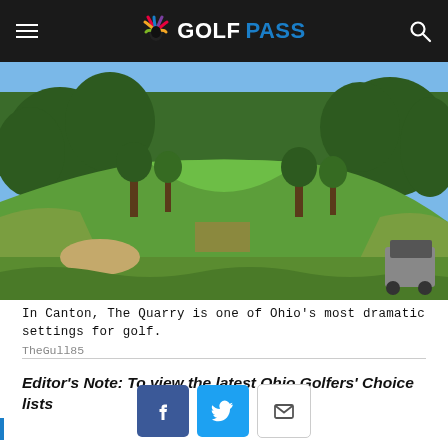GOLFPASS
[Figure (photo): Golf course fairway at The Quarry in Canton, Ohio. Rolling green fairway leading uphill through a wooded corridor of trees under a clear blue sky. A golf cart is visible in the lower right corner.]
In Canton, The Quarry is one of Ohio's most dramatic settings for golf.
TheGull85
Editor's Note: To view the latest Ohio Golfers' Choice lists